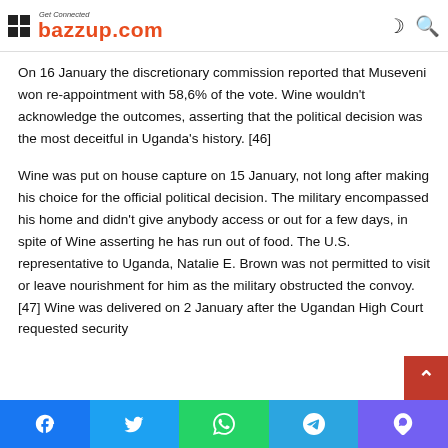Get Connected bazzup.com
On 16 January the discretionary commission reported that Museveni won re-appointment with 58,6% of the vote. Wine wouldn't acknowledge the outcomes, asserting that the political decision was the most deceitful in Uganda's history. [46]
Wine was put on house capture on 15 January, not long after making his choice for the official political decision. The military encompassed his home and didn't give anybody access or out for a few days, in spite of Wine asserting he has run out of food. The U.S. representative to Uganda, Natalie E. Brown was not permitted to visit or leave nourishment for him as the military obstructed the convoy.[47] Wine was delivered on 2 January after the Ugandan High Court requested security
Facebook Twitter WhatsApp Telegram Viber